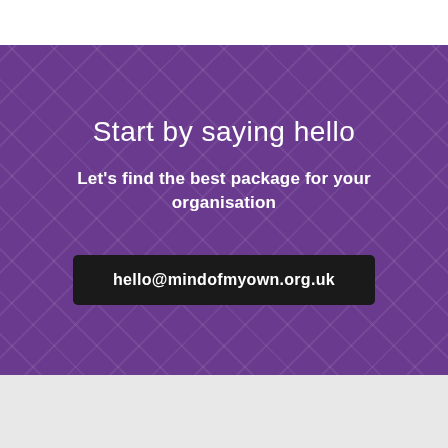Start by saying hello
Let's find the best package for your organisation
hello@mindofmyown.org.uk